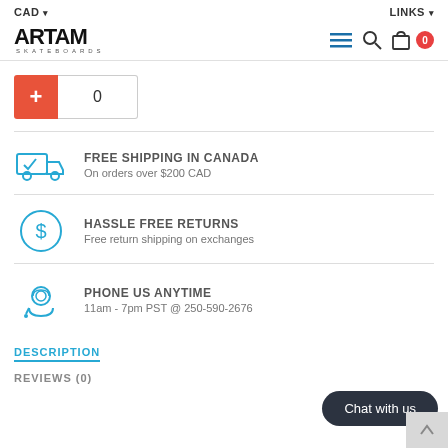CAD ▾   LINKS ▾
[Figure (logo): ARTAM SKATEBOARDS logo]
[Figure (infographic): Navigation icons: hamburger menu, search, shopping bag, cart badge showing 0]
[Figure (infographic): Plus button (orange) and quantity input showing 0]
FREE SHIPPING IN CANADA
On orders over $200 CAD
HASSLE FREE RETURNS
Free return shipping on exchanges
PHONE US ANYTIME
11am - 7pm PST @ 250-590-2676
DESCRIPTION
REVIEWS (0)
Chat with us